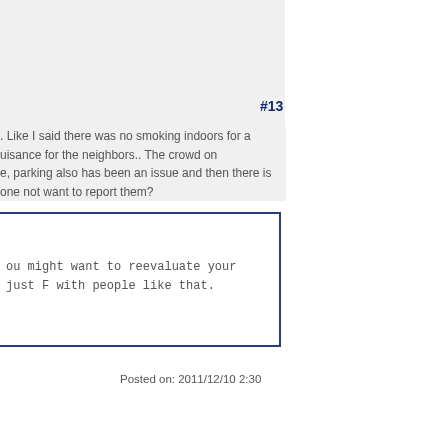Posted on: 2011/12/10 3:30
#13
. Like I said there was no smoking indoors for a uisance for the neighbors.. The crowd on e, parking also has been an issue and then there is one not want to report them?
ou might want to reevaluate your
just F with people like that.
Posted on: 2011/12/10 2:30